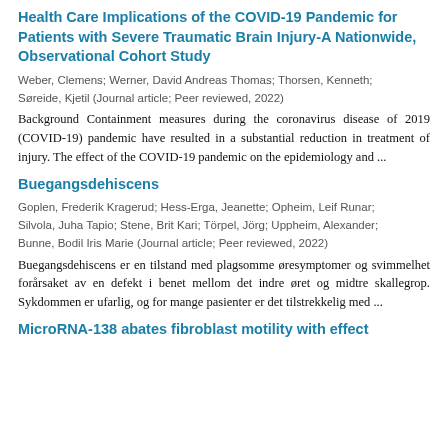Health Care Implications of the COVID-19 Pandemic for Patients with Severe Traumatic Brain Injury-A Nationwide, Observational Cohort Study
Weber, Clemens; Werner, David Andreas Thomas; Thorsen, Kenneth; Søreide, Kjetil (Journal article; Peer reviewed, 2022)
Background Containment measures during the coronavirus disease of 2019 (COVID-19) pandemic have resulted in a substantial reduction in treatment of injury. The effect of the COVID-19 pandemic on the epidemiology and ...
Buegangsdehiscens
Goplen, Frederik Kragerud; Hess-Erga, Jeanette; Opheim, Leif Runar; Silvola, Juha Tapio; Stene, Brit Kari; Törpel, Jörg; Uppheim, Alexander; Bunne, Bodil Iris Marie (Journal article; Peer reviewed, 2022)
Buegangsdehiscens er en tilstand med plagsomme øresymptomer og svimmelhet forårsaket av en defekt i benet mellom det indre øret og midtre skallegrop. Sykdommen er ufarlig, og for mange pasienter er det tilstrekkelig med ...
MicroRNA-138 abates fibroblast motility with effect